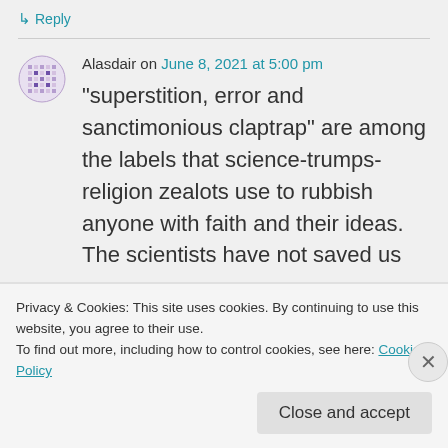↳ Reply
Alasdair on June 8, 2021 at 5:00 pm
“superstition, error and sanctimonious claptrap” are among the labels that science-trumps-religion zealots use to rubbish anyone with faith and their ideas. The scientists have not saved us
Privacy & Cookies: This site uses cookies. By continuing to use this website, you agree to their use.
To find out more, including how to control cookies, see here: Cookie Policy
Close and accept